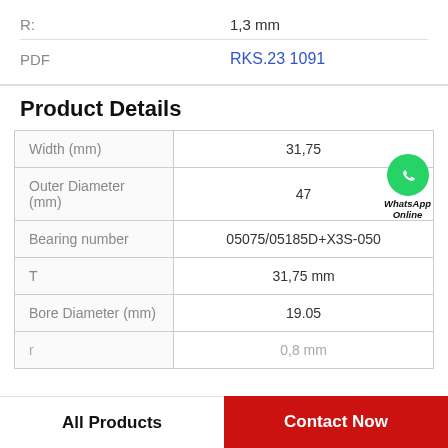R: 1,3 mm
PDF RKS.23 1091
Product Details
| Property | Value |
| --- | --- |
| Width (mm) | 31,75 |
| Outer Diameter (mm) | 47 |
| Bearing number | 05075/05185D+X3S-050 |
| T | 31,75 mm |
| Bore Diameter (mm) | 19.05 |
| r | 0,8 mm |
All Products
Contact Now